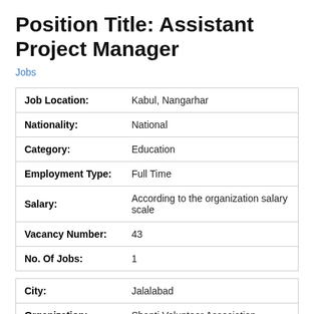Position Title: Assistant Project Manager
Jobs
|  |  |
| --- | --- |
| Job Location: | Kabul, Nangarhar |
| Nationality: | National |
| Category: | Education |
| Employment Type: | Full Time |
| Salary: | According to the organization salary scale |
| Vacancy Number: | 43 |
| No. Of Jobs: | 1 |
|  |  |
| --- | --- |
| City: | Jalalabad |
| Organization: | Shanti Volunteer Association |